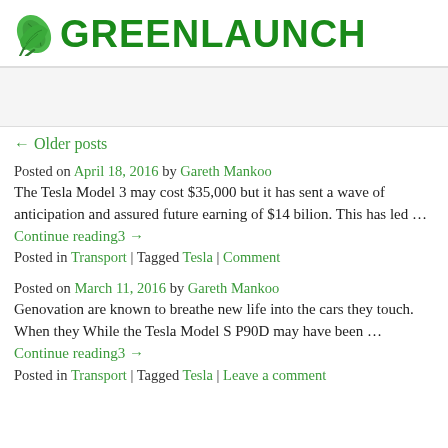GREENLAUNCH
← Older posts
Posted on April 18, 2016 by Gareth Mankoo
The Tesla Model 3 may cost $35,000 but it has sent a wave of anticipation and assured future earning of $14 bilion. This has led … Continue reading3 →
Posted in Transport | Tagged Tesla | Comment
Posted on March 11, 2016 by Gareth Mankoo
Genovation are known to breathe new life into the cars they touch. When they While the Tesla Model S P90D may have been … Continue reading3 →
Posted in Transport | Tagged Tesla | Leave a comment